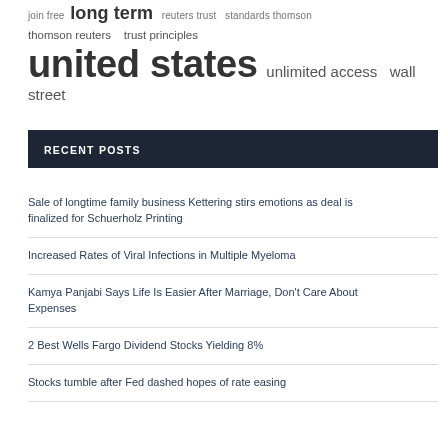join free  long term  reuters trust  standards thomson  thomson reuters  trust principles  united states  unlimited access  wall street
RECENT POSTS
Sale of longtime family business Kettering stirs emotions as deal is finalized for Schuerholz Printing
Increased Rates of Viral Infections in Multiple Myeloma
Kamya Panjabi Says Life Is Easier After Marriage, Don't Care About Expenses
2 Best Wells Fargo Dividend Stocks Yielding 8%
Stocks tumble after Fed dashed hopes of rate easing